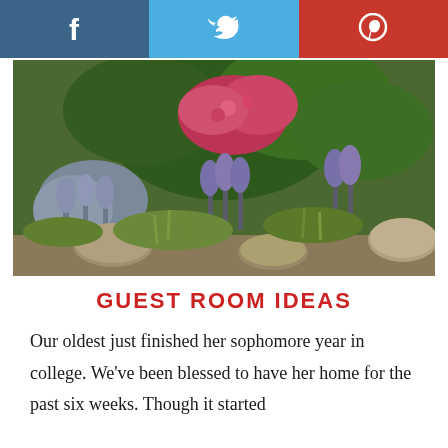[Figure (infographic): Social media sharing buttons bar with Facebook (dark blue), Twitter (light blue), and Pinterest (red) icons]
[Figure (photo): Garden photograph showing lavender, purple sage, red flowers, and green shrubs among rocks]
GUEST ROOM IDEAS
Our oldest just finished her sophomore year in college. We've been blessed to have her home for the past six weeks. Though it started